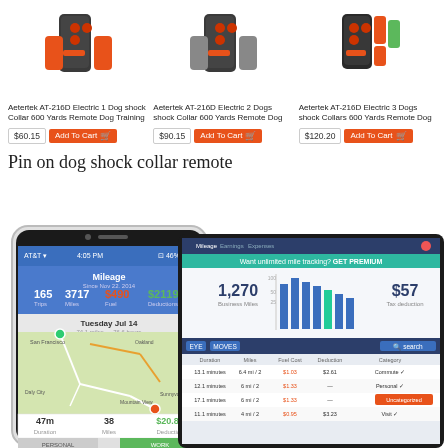[Figure (photo): Three product images: Aetertek AT-216D electric dog shock collar remote trainers (1-dog, 2-dog, 3-dog versions) with orange accent colors]
Aetertek AT-216D Electric 1 Dog shock Collar 600 Yards Remote Dog Training
Aetertek AT-216D Electric 2 Dogs shock Collar 600 Yards Remote Dog
Aetertek AT-216D Electric 3 Dogs shock Collars 600 Yards Remote Dog
$60.15
$90.15
$120.20
Pin on dog shock collar remote
[Figure (screenshot): Smartphone and tablet showing Mileage tracking app with map, mileage stats (165 trips, 3717 miles, $490 fuel, $2119 deductions), date Tuesday Jul 14, 47m duration, 38 miles, $20.88 deduction, and tablet showing business miles 1,270 and $57 tax deduction with bar chart and trip log]